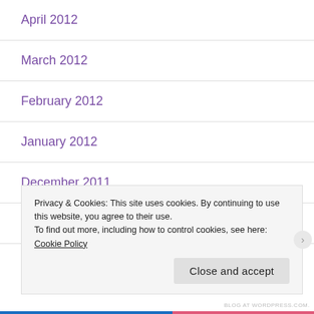April 2012
March 2012
February 2012
January 2012
December 2011
November 2011
October 2011
Privacy & Cookies: This site uses cookies. By continuing to use this website, you agree to their use.
To find out more, including how to control cookies, see here: Cookie Policy
Close and accept
BLOG AT WORDPRESS.COM.